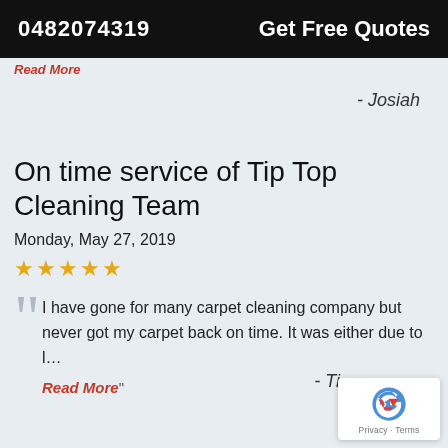0482074319   Get Free Quotes
Read More
- Josiah
On time service of Tip Top Cleaning Team
Monday, May 27, 2019
★★★★★
I have gone for many carpet cleaning company but never got my carpet back on time. It was either due to l…
Read More"
- Ti